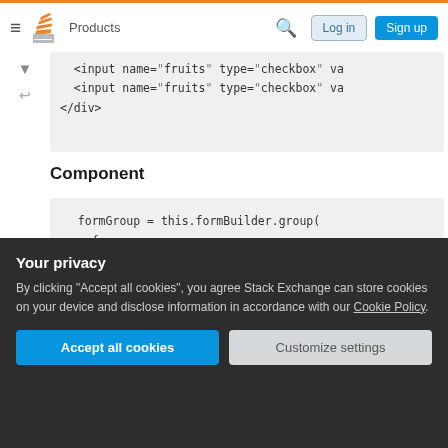Stack Overflow navigation bar with hamburger menu, logo, Products, search, Log in, Sign up
<input name="fruits" type="checkbox" va
<input name="fruits" type="checkbox" va
</div>
Component
formGroup = this.formBuilder.group(
    {
      fruits: [[]]  //["Orange","Banana",
    })

change(event: Event) {
Your privacy
By clicking "Accept all cookies", you agree Stack Exchange can store cookies on your device and disclose information in accordance with our Cookie Policy.
Accept all cookies   Customize settings
else {